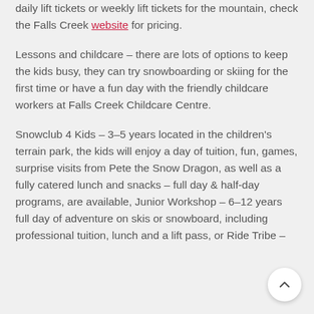daily lift tickets or weekly lift tickets for the mountain, check the Falls Creek website for pricing.
Lessons and childcare – there are lots of options to keep the kids busy, they can try snowboarding or skiing for the first time or have a fun day with the friendly childcare workers at Falls Creek Childcare Centre.
Snowclub 4 Kids – 3–5 years located in the children's terrain park, the kids will enjoy a day of tuition, fun, games, surprise visits from Pete the Snow Dragon, as well as a fully catered lunch and snacks – full day & half-day programs, are available, Junior Workshop – 6–12 years full day of adventure on skis or snowboard, including professional tuition, lunch and a lift pass, or Ride Tribe –